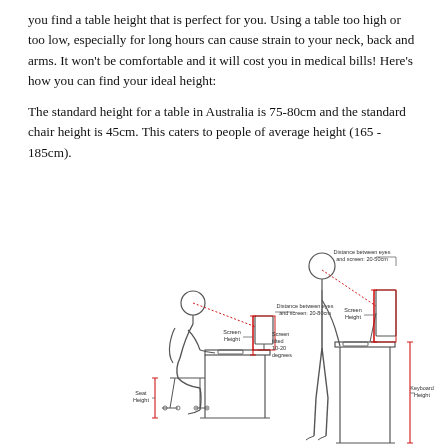you find a table height that is perfect for you. Using a table too high or too low, especially for long hours can cause strain to your neck, back and arms. It won't be comfortable and it will cost you in medical bills! Here's how you can find your ideal height:
The standard height for a table in Australia is 75-80cm and the standard chair height is 45cm. This caters to people of average height (165 - 185cm).
[Figure (engineering-diagram): Two ergonomic diagrams side by side: left shows a seated person at a desk with a monitor, labelled with 'Distance between eyes and screen: 20-80cm', 'Screen Height', 'Screen tilted 10-20 degrees', and 'Seat Height'. Right shows a standing person at a tall desk with a monitor, labelled with 'Distance between eyes and screen: 20-50cm', 'Screen Height', and 'Keyboard Height'.]